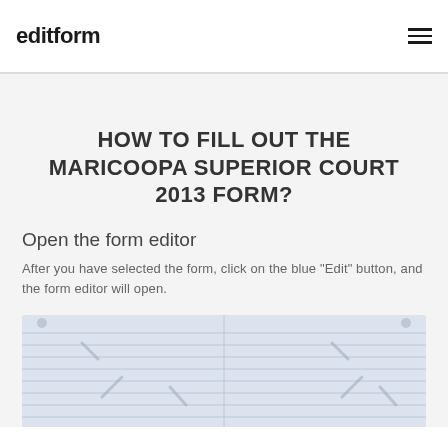editform
HOW TO FILL OUT THE MARICOOPA SUPERIOR COURT 2013 FORM?
Open the form editor
After you have selected the form, click on the blue "Edit" button, and the form editor will open.
[Figure (screenshot): Screenshot of a form editor interface showing a form with lined fields]